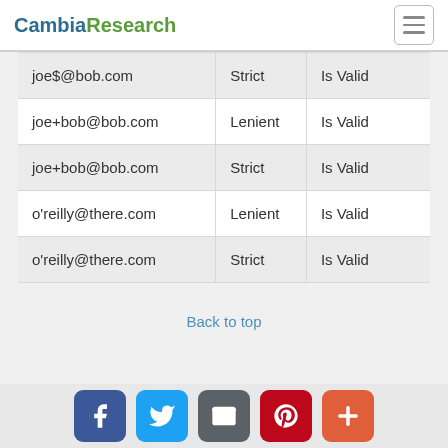CambiaResearch
| joe$@bob.com | Strict | Is Valid |
| joe+bob@bob.com | Lenient | Is Valid |
| joe+bob@bob.com | Strict | Is Valid |
| o'reilly@there.com | Lenient | Is Valid |
| o'reilly@there.com | Strict | Is Valid |
Back to top